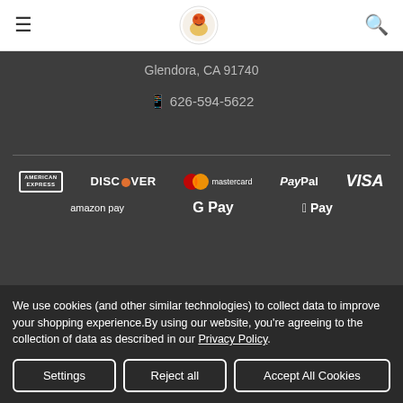Navigation header with menu, logo, and search icons
Glendora, CA 91740
📱 626-594-5622
[Figure (infographic): Payment method logos: American Express, Discover, Mastercard, PayPal, Visa, Amazon Pay, Google Pay, Apple Pay]
We use cookies (and other similar technologies) to collect data to improve your shopping experience.By using our website, you're agreeing to the collection of data as described in our Privacy Policy.
Settings
Reject all
Accept All Cookies